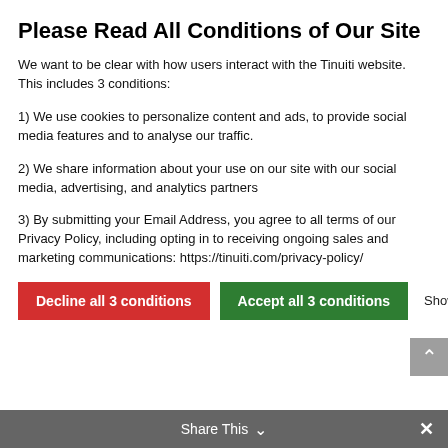Please Read All Conditions of Our Site
We want to be clear with how users interact with the Tinuiti website. This includes 3 conditions:
1) We use cookies to personalize content and ads, to provide social media features and to analyse our traffic.
2) We share information about your use on our site with our social media, advertising, and analytics partners
3) By submitting your Email Address, you agree to all terms of our Privacy Policy, including opting in to receiving ongoing sales and marketing communications: https://tinuiti.com/privacy-policy/
Decline all 3 conditions | Accept all 3 conditions | Show details
referrals).
The biggest culprit here tends to be Paypal.
If you start to see “Paypal” referring sales, you’ll want to follow these steps from the Director of